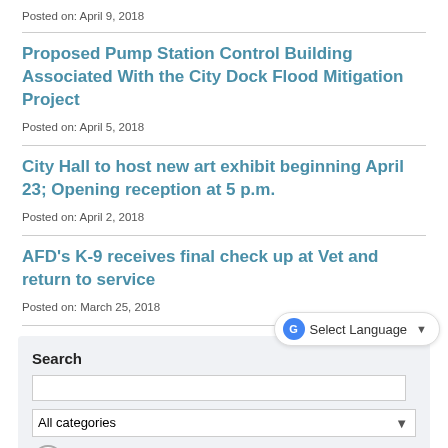Posted on: April 9, 2018
Proposed Pump Station Control Building Associated With the City Dock Flood Mitigation Project
Posted on: April 5, 2018
City Hall to host new art exhibit beginning April 23; Opening reception at 5 p.m.
Posted on: April 2, 2018
AFD's K-9 receives final check up at Vet and return to service
Posted on: March 25, 2018
Search
All categories
[Figure (screenshot): Select Language translation button overlay]